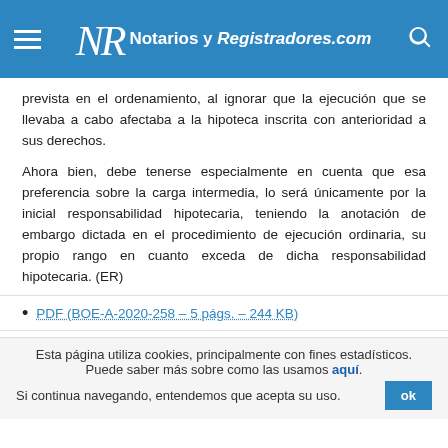Notarios y Registradores.com
prevista en el ordenamiento, al ignorar que la ejecución que se llevaba a cabo afectaba a la hipoteca inscrita con anterioridad a sus derechos.
Ahora bien, debe tenerse especialmente en cuenta que esa preferencia sobre la carga intermedia, lo será únicamente por la inicial responsabilidad hipotecaria, teniendo la anotación de embargo dictada en el procedimiento de ejecución ordinaria, su propio rango en cuanto exceda de dicha responsabilidad hipotecaria. (ER)
PDF (BOE-A-2020-258 – 5 págs. – 244 KB)
Esta página utiliza cookies, principalmente con fines estadísticos. Puede saber más sobre como las usamos aquí. Si continua navegando, entendemos que acepta su uso.